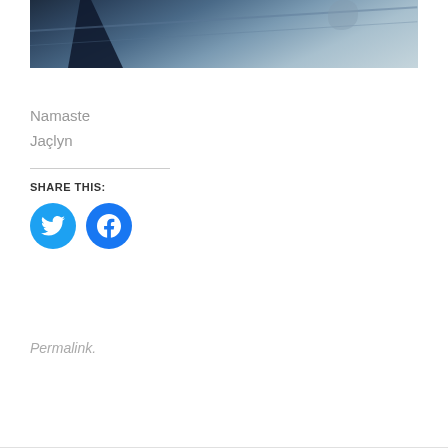[Figure (photo): Dark blue-tinted photo showing feet/shadow on a wet reflective surface with diagonal lines, partially cropped at top]
Namaste
Jaçlyn
SHARE THIS:
[Figure (infographic): Twitter and Facebook circular social share buttons]
Permalink.